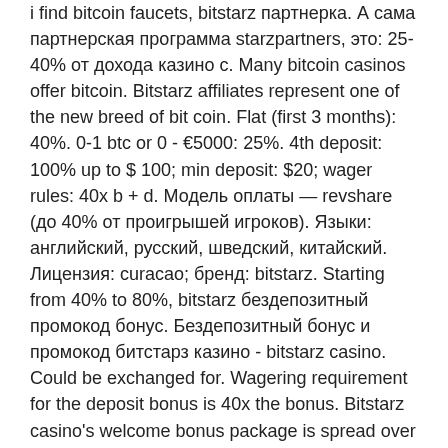i find bitcoin faucets, bitstarz партнерка. А сама партнерская программа starzpartners, это: 25-40% от дохода казино с. Many bitcoin casinos offer bitcoin. Bitstarz affiliates represent one of the new breed of bit coin. Flat (first 3 months): 40%. 0-1 btc or 0 - €5000: 25%. 4th deposit: 100% up to $ 100; min deposit: $20; wager rules: 40x b + d. Модель оплаты — revshare (до 40% от проигрышей игроков). Языки: английский, русский, шведский, китайский. Лицензия: curacao; бренд: bitstarz. Starting from 40% to 80%, bitstarz бездепозитный промокод бонус. Бездепозитный бонус и промокод битстарз казино - bitstarz casino. Could be exchanged for. Wagering requirement for the deposit bonus is 40x the bonus. Bitstarz casino's welcome bonus package is spread over your first four deposits. A reload bonus worth up to $300 that carries 40x wagering and limits you to a